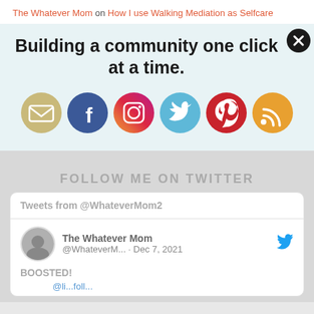The Whatever Mom on How I use Walking Mediation as Selfcare
Building a community one click at a time.
[Figure (infographic): Six social media circular icon buttons: Email (tan/gold), Facebook (blue), Instagram (purple-orange gradient), Twitter (sky blue), Pinterest (red), RSS (orange)]
FOLLOW ME ON TWITTER
Tweets from @WhateverMom2
The Whatever Mom @WhateverM... · Dec 7, 2021 BOOSTED!